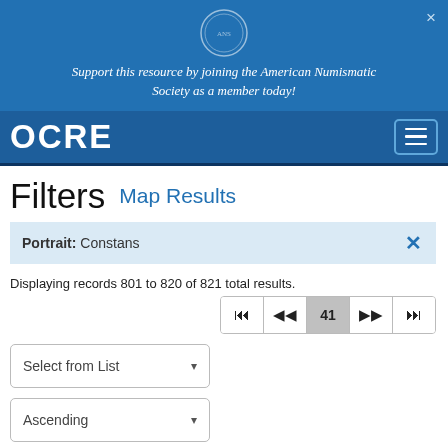Support this resource by joining the American Numismatic Society as a member today!
OCRE
Filters  Map Results
Portrait: Constans
Displaying records 801 to 820 of 821 total results.
Select from List
Ascending